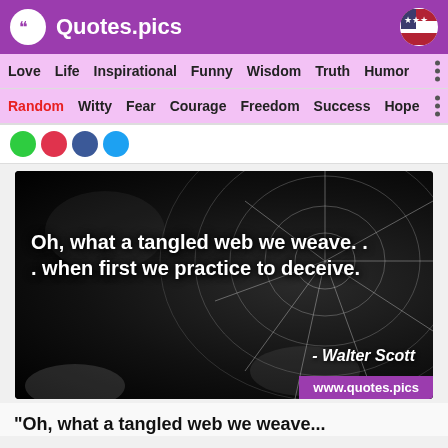Quotes.pics
Love  Life  Inspirational  Funny  Wisdom  Truth  Humor
Random  Witty  Fear  Courage  Freedom  Success  Hope
[Figure (photo): Dark background with spiderweb image. Quote text overlay: 'Oh, what a tangled web we weave.. . when first we practice to deceive.' - Walter Scott. URL bar: www.quotes.pics]
“Oh, what a tangled web we weave...